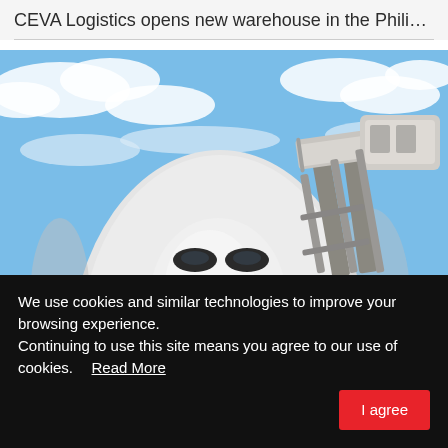CEVA Logistics opens new warehouse in the Philippi…
[Figure (photo): Close-up of the nose of a white cargo airplane on a tarmac with a loading ramp/jet bridge extended to it, blue sky with clouds in background.]
CMA CGM continues air fleet expansion with secon…
We use cookies and similar technologies to improve your browsing experience.
Continuing to use this site means you agree to our use of cookies.   Read More
I agree